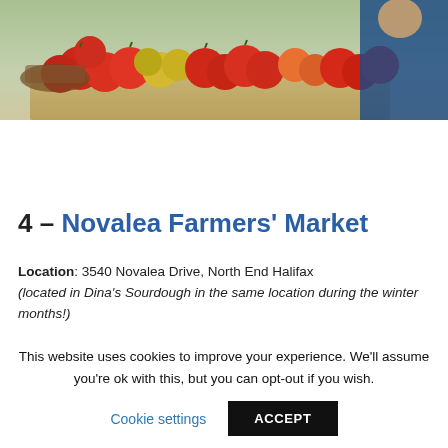[Figure (photo): Photo of a farmers' market produce display showing red apples, yellow apples, and other fruits with a person wearing blue in the background]
4 – Novalea Farmers' Market
Location: 3540 Novalea Drive, North End Halifax (located in Dina's Sourdough in the same location during the winter months!)
This website uses cookies to improve your experience. We'll assume you're ok with this, but you can opt-out if you wish.